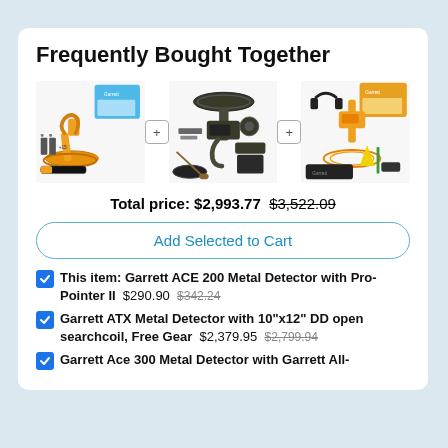Frequently Bought Together
[Figure (photo): Three metal detector product images shown side by side with plus connectors between them]
Total price: $2,993.77 $3,522.09
Add Selected to Cart
This item: Garrett ACE 200 Metal Detector with Pro-Pointer II $290.90 $342.24
Garrett ATX Metal Detector with 10"x12" DD open searchcoil, Free Gear $2,379.95 $2,799.94
Garrett Ace 300 Metal Detector with Garrett All-